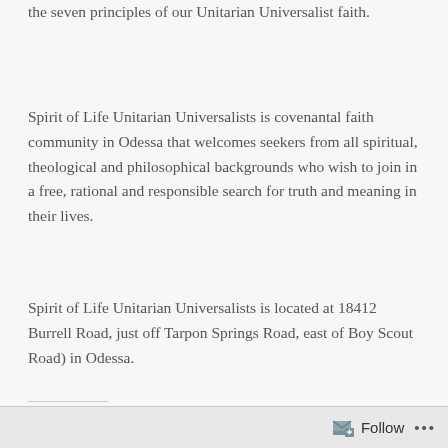the seven principles of our Unitarian Universalist faith.
Spirit of Life Unitarian Universalists is covenantal faith community in Odessa that welcomes seekers from all spiritual, theological and philosophical backgrounds who wish to join in a free, rational and responsible search for truth and meaning in their lives.
Spirit of Life Unitarian Universalists is located at 18412 Burrell Road, just off Tarpon Springs Road, east of Boy Scout Road) in Odessa.
Share this:
Follow ...